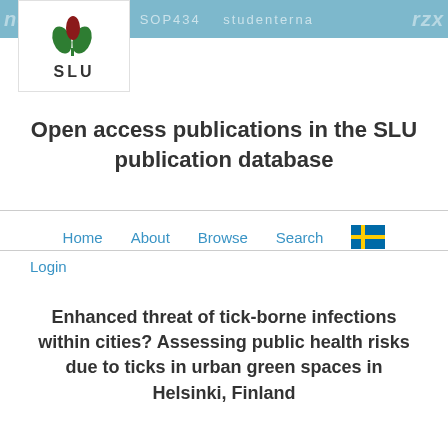[Figure (logo): SLU (Swedish University of Agricultural Sciences) logo with stylized green and red leaf/plant symbol above bold SLU text, inside a white box overlaid on a teal header banner]
Open access publications in the SLU publication database
Home   About   Browse   Search   [Swedish flag icon]
Login
Enhanced threat of tick-borne infections within cities? Assessing public health risks due to ticks in urban green spaces in Helsinki, Finland